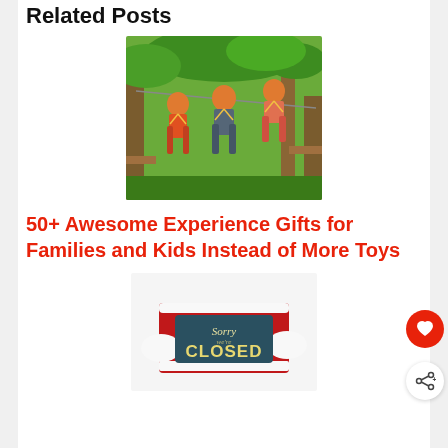Related Posts
[Figure (photo): Three children wearing orange helmets and harnesses on a zip-line adventure course in a forest setting]
50+ Awesome Experience Gifts for Families and Kids Instead of More Toys
[Figure (photo): Santa Claus holding a sign that reads 'Sorry We're CLOSED']